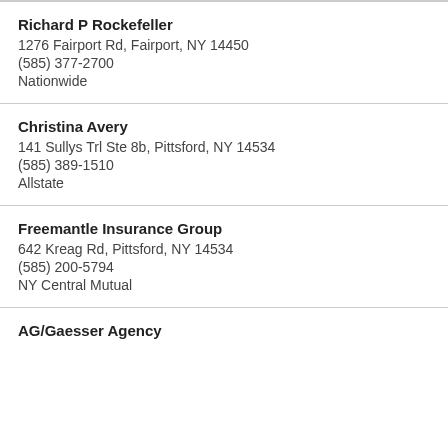Richard P Rockefeller
1276 Fairport Rd, Fairport, NY 14450
(585) 377-2700
Nationwide
Christina Avery
141 Sullys Trl Ste 8b, Pittsford, NY 14534
(585) 389-1510
Allstate
Freemantle Insurance Group
642 Kreag Rd, Pittsford, NY 14534
(585) 200-5794
NY Central Mutual
AG/Gaesser Agency